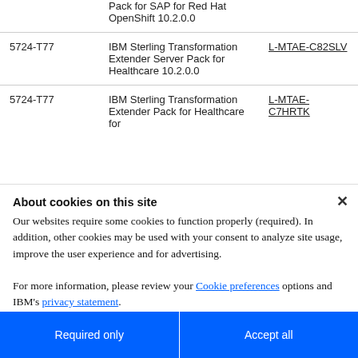| Product Number | Product Name | License |
| --- | --- | --- |
|  | Pack for SAP for Red Hat OpenShift 10.2.0.0 |  |
| 5724-T77 | IBM Sterling Transformation Extender Server Pack for Healthcare 10.2.0.0 | L-MTAE-C82SLV |
| 5724-T77 | IBM Sterling Transformation Extender Pack for Healthcare for ... | L-MTAE-C7HRTK |
About cookies on this site
Our websites require some cookies to function properly (required). In addition, other cookies may be used with your consent to analyze site usage, improve the user experience and for advertising.

For more information, please review your Cookie preferences options and IBM's privacy statement.